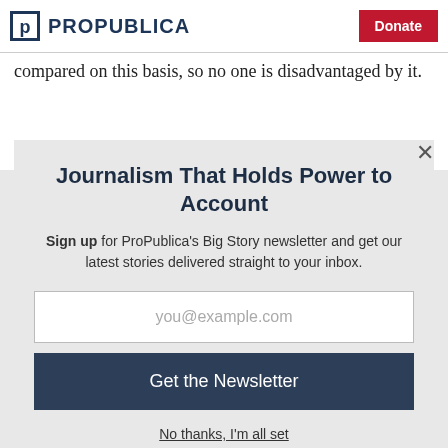ProPublica | Donate
compared on this basis, so no one is disadvantaged by it.
Journalism That Holds Power to Account
Sign up for ProPublica's Big Story newsletter and get our latest stories delivered straight to your inbox.
you@example.com
Get the Newsletter
No thanks, I'm all set
This site is protected by reCAPTCHA and the Google Privacy Policy and Terms of Service apply.